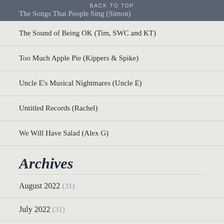BACK TO TOP
The Songs That People Sing (Simon)
The Sound of Being OK (Tim, SWC and KT)
Too Much Apple Pie (Kippers & Spike)
Uncle E's Musical Nightmares (Uncle E)
Untitled Records (Rachel)
We Will Have Salad (Alex G)
Archives
August 2022 (31)
July 2022 (31)
June 2022 (30)
May 2022 (33)
April 2022 (30)